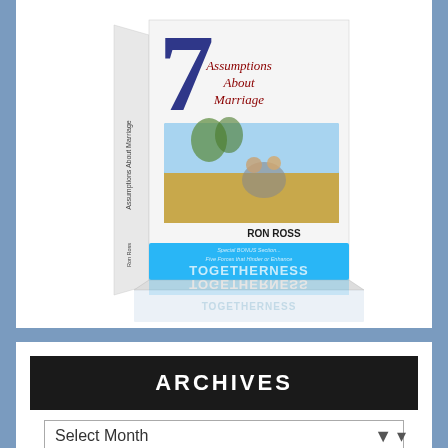[Figure (photo): 3D book cover image of '7 Assumptions About Marriage' by Ron Ross, showing a couple sitting in a field on the front cover. The book spine reads 'Assumptions About Marriage'. A blue banner at the bottom reads 'Special BONUS Section... Five Forces that Hinder or Enhance TOGETHERNESS'. A reflection of the book is shown below.]
ARCHIVES
Select Month